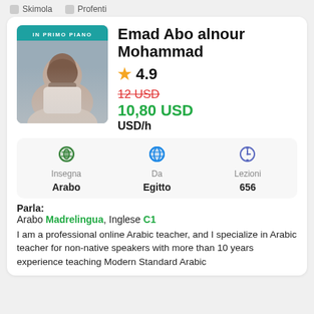Skimola   Profenti
[Figure (photo): Profile photo of Emad Abo alnour Mohammad with IN PRIMO PIANO featured badge]
Emad Abo alnour Mohammad
★ 4.9
12 USD (strikethrough) 10,80 USD USD/h
Insegna: Arabo | Da: Egitto | Lezioni: 656
Parla: Arabo Madrelingua, Inglese C1
I am a professional online Arabic teacher, and I specialize in Arabic teacher for non-native speakers with more than 10 years experience teaching Modern Standard Arabic